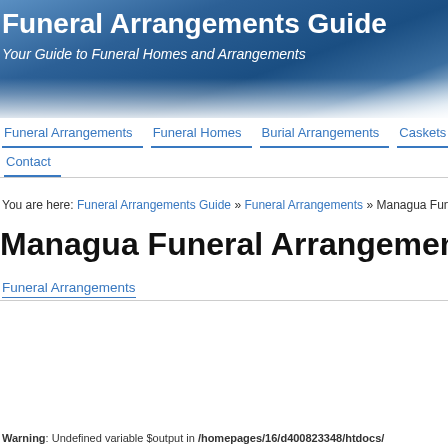[Figure (photo): Blue sky with clouds header banner background]
Funeral Arrangements Guide
Your Guide to Funeral Homes and Arrangements
Funeral Arrangements | Funeral Homes | Burial Arrangements | Caskets | Urns | Contact
You are here: Funeral Arrangements Guide » Funeral Arrangements » Managua Funeral Arrangements
Managua Funeral Arrangements – Managua Fu
Funeral Arrangements
Warning: Undefined variable $output in /homepages/16/d400823348/htdocs/